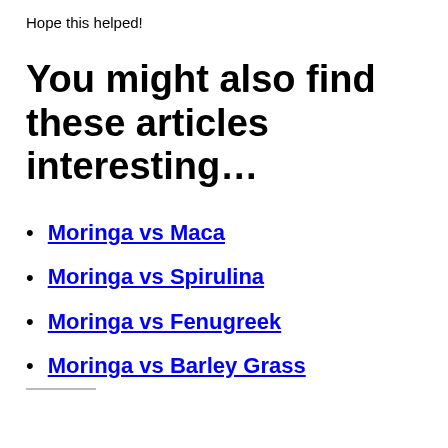Hope this helped!
You might also find these articles interesting…
Moringa vs Maca
Moringa vs Spirulina
Moringa vs Fenugreek
Moringa vs Barley Grass